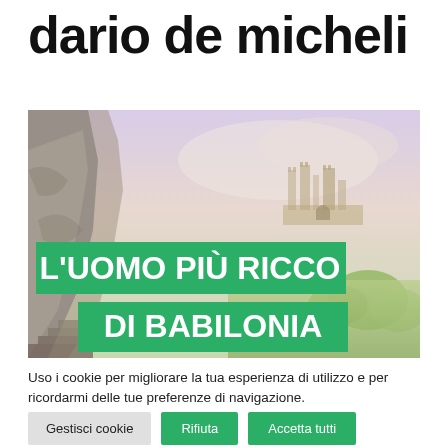dario de micheli
[Figure (illustration): Watercolor painting of ancient Babylon ruins and cityscape with overlay text reading L'UOMO PIÙ RICCO DI BABILONIA in white bold font on green banner backgrounds]
Uso i cookie per migliorare la tua esperienza di utilizzo e per ricordarmi delle tue preferenze di navigazione.
Gestisci cookie  Rifiuta  Accetta tutti